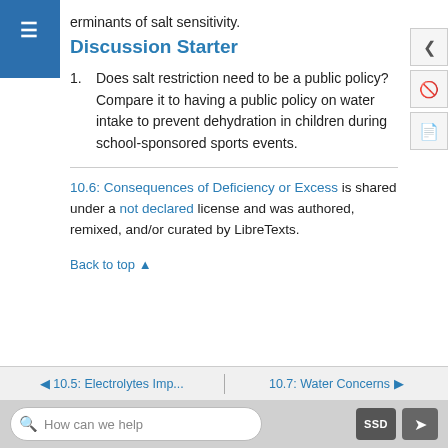erminants of salt sensitivity.
Discussion Starter
Does salt restriction need to be a public policy? Compare it to having a public policy on water intake to prevent dehydration in children during school-sponsored sports events.
10.6: Consequences of Deficiency or Excess is shared under a not declared license and was authored, remixed, and/or curated by LibreTexts.
Back to top ▲
◄ 10.5: Electrolytes Imp...  |  10.7: Water Concerns ►